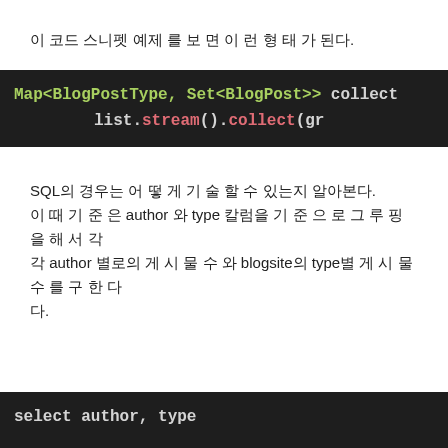이 코드 스니펫 예제 를 보 면 이 런 형 태 가 된다.
[Figure (screenshot): Code snippet showing: Map<BlogPostType, Set<BlogPost>> collect list.stream().collect(gr — dark background code block]
SQL의 경우는 어 떻 게 기 술 할 수 있는지 알아본다. 이 때 기 준 은 author 와 type 칼럼을 기 준 으 로 그 루 핑 을 해 서 각 author 별로의 게 시 물 수 와 blogsite의 type별 게 시 물 수 를 구 한 다.
[Figure (screenshot): SQL code snippet starting with: select author, type — dark background code block]